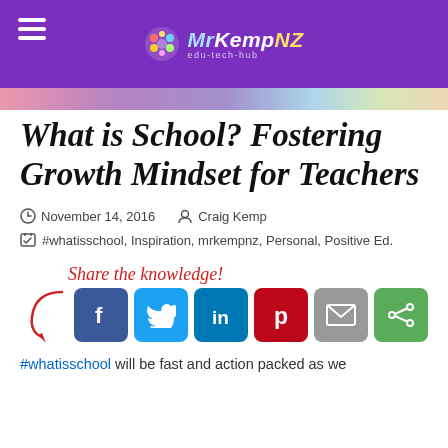MrKempNZ
What is School? Fostering Growth Mindset for Teachers
November 14, 2016   Craig Kemp
#whatisschool, Inspiration, mrkempnz, Personal, Positive Ed.
Share the knowledge!
[Figure (infographic): Social sharing buttons: Facebook, Twitter, LinkedIn, Pinterest, Email, More]
#whatisschool will be fast and action packed as we